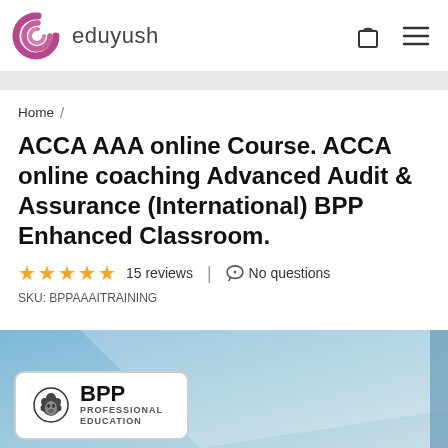[Figure (logo): Eduyush logo with spiral graphic and text 'eduyush']
Home /
ACCA AAA online Course. ACCA online coaching Advanced Audit & Assurance (International) BPP Enhanced Classroom.
★★★★★ 15 reviews | No questions
SKU: BPPAAAITRAINING
[Figure (photo): Blue sky background banner with BPP Professional Education badge/logo in white rounded rectangle]